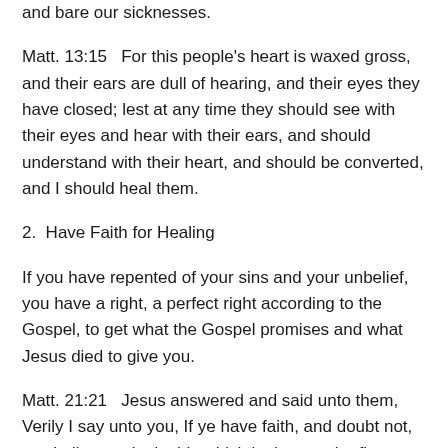and bare our sicknesses.
Matt. 13:15   For this people's heart is waxed gross, and their ears are dull of hearing, and their eyes they have closed; lest at any time they should see with their eyes and hear with their ears, and should understand with their heart, and should be converted, and I should heal them.
2.  Have Faith for Healing
If you have repented of your sins and your unbelief, you have a right, a perfect right according to the Gospel, to get what the Gospel promises and what Jesus died to give you.
Matt. 21:21   Jesus answered and said unto them, Verily I say unto you, If ye have faith, and doubt not, ye shall not only do this which is done to the fig tree, but also if ye